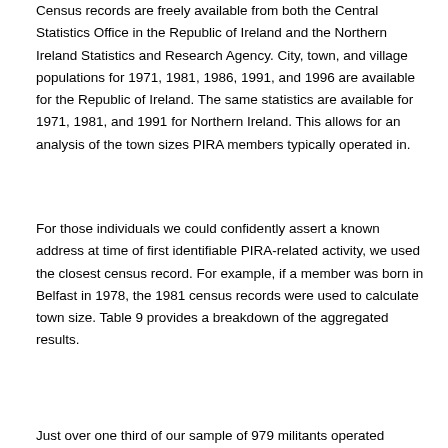Census records are freely available from both the Central Statistics Office in the Republic of Ireland and the Northern Ireland Statistics and Research Agency. City, town, and village populations for 1971, 1981, 1986, 1991, and 1996 are available for the Republic of Ireland. The same statistics are available for 1971, 1981, and 1991 for Northern Ireland. This allows for an analysis of the town sizes PIRA members typically operated in.
For those individuals we could confidently assert a known address at time of first identifiable PIRA-related activity, we used the closest census record. For example, if a member was born in Belfast in 1978, the 1981 census records were used to calculate town size. Table 9 provides a breakdown of the aggregated results.
Just over one third of our sample of 979 militants operated